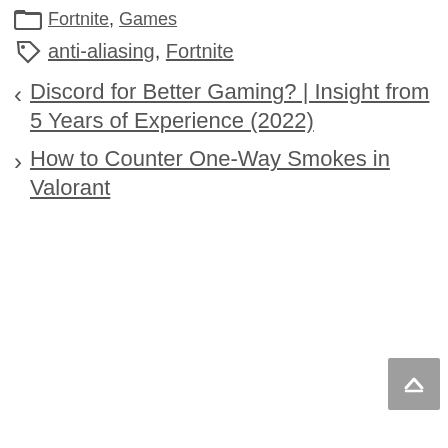Fortnite, Games
anti-aliasing, Fortnite
< Discord for Better Gaming? | Insight from 5 Years of Experience (2022)
> How to Counter One-Way Smokes in Valorant